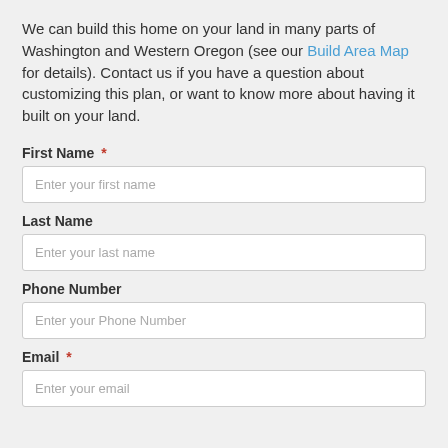We can build this home on your land in many parts of Washington and Western Oregon (see our Build Area Map for details). Contact us if you have a question about customizing this plan, or want to know more about having it built on your land.
First Name *
Enter your first name
Last Name
Enter your last name
Phone Number
Enter your Phone Number
Email *
Enter your email